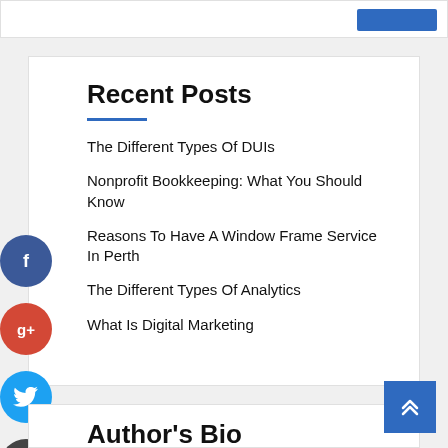Recent Posts
The Different Types Of DUIs
Nonprofit Bookkeeping: What You Should Know
Reasons To Have A Window Frame Service In Perth
The Different Types Of Analytics
What Is Digital Marketing
Author's Bio